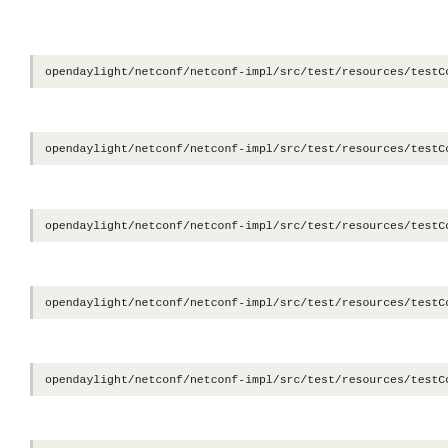opendaylight/netconf/netconf-impl/src/test/resources/testCo
opendaylight/netconf/netconf-impl/src/test/resources/testCo
opendaylight/netconf/netconf-impl/src/test/resources/testCo
opendaylight/netconf/netconf-impl/src/test/resources/testCo
opendaylight/netconf/netconf-impl/src/test/resources/testCo
opendaylight/netconf/netconf-impl/src/test/resources/testCo